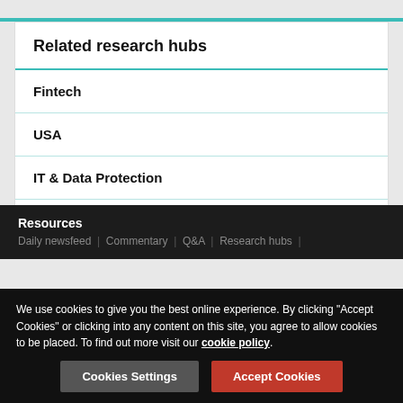Related research hubs
Fintech
USA
IT & Data Protection
Insurance
Resources
Daily newsfeed | Commentary | Q&A | Research hubs |
We use cookies to give you the best online experience. By clicking "Accept Cookies" or clicking into any content on this site, you agree to allow cookies to be placed. To find out more visit our cookie policy.
Cookies Settings   Accept Cookies